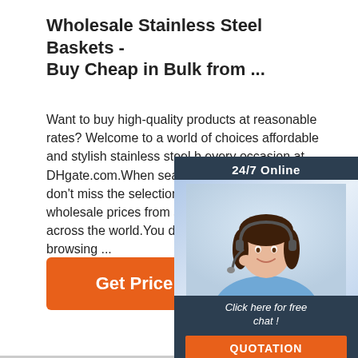Wholesale Stainless Steel Baskets - Buy Cheap in Bulk from ...
Want to buy high-quality products at reasonable rates? Welcome to a world of choices affordable and stylish stainless steel b every occasion at DHgate.com.When searching for the best offer, don't miss the selection of over 1678 items items wholesale prices from some of the big brands across the world.You don't nee anymore; start browsing ...
[Figure (photo): Customer service representative with headset, 24/7 Online chat widget with dark navy background, orange QUOTATION button, and 'Click here for free chat!' text]
[Figure (other): Orange 'Get Price' button]
[Figure (logo): TOP logo with orange dots forming an upward arrow above the text TOP]